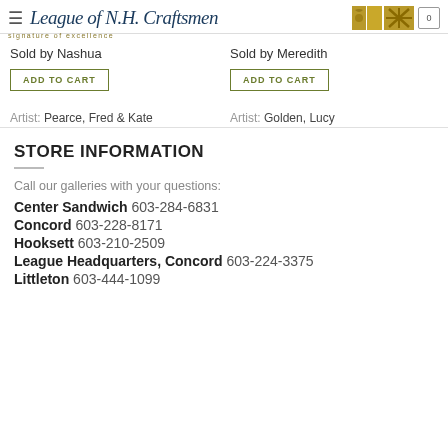League of N.H. Craftsmen — signature of excellence
Sold by Nashua
Sold by Meredith
ADD TO CART
ADD TO CART
Artist: Pearce, Fred & Kate
Artist: Golden, Lucy
STORE INFORMATION
Call our galleries with your questions:
Center Sandwich 603-284-6831
Concord 603-228-8171
Hooksett 603-210-2509
League Headquarters, Concord 603-224-3375
Littleton 603-444-1099